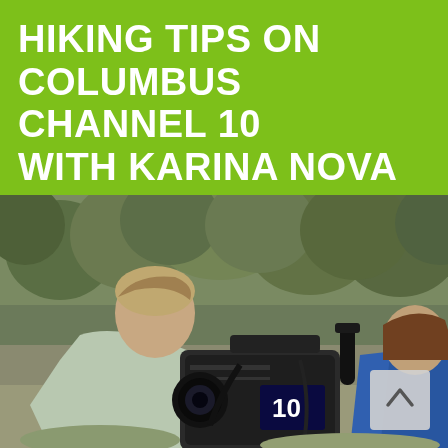HIKING TIPS ON COLUMBUS CHANNEL 10 WITH KARINA NOVA
[Figure (photo): Outdoor photo of a cameraman leaning over a professional TV camera branded with Channel 10 logo, filming in a wooded area. A person in a blue jacket is visible on the right. Trees with autumn foliage in the background.]